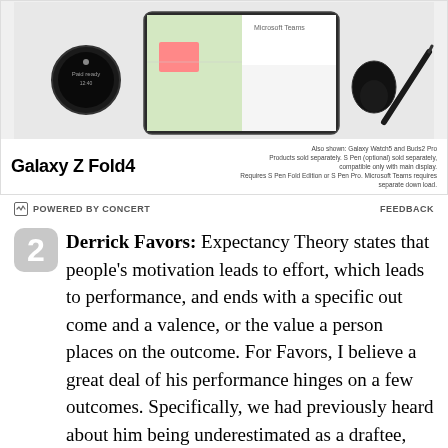[Figure (photo): Samsung Galaxy Z Fold4 advertisement showing the device alongside Galaxy Watch5 and Buds2 Pro. Bottom of ad shows bold 'Galaxy Z Fold4' branding and small disclaimer text: 'Also shown: Galaxy Watch5 and Buds2 Pro. Products sold separately. S Pen (optional) sold separately, compatible only with main display. Requires S Pen Fold Edition or S Pen Pro. Microsoft Teams requires separate download.']
POWERED BY CONCERT    FEEDBACK
Derrick Favors: Expectancy Theory states that people's motivation leads to effort, which leads to performance, and ends with a specific out come and a valence, or the value a person places on the outcome. For Favors, I believe a great deal of his performance hinges on a few outcomes. Specifically, we had previously heard about him being underestimated as a draftee, not given a chance in NJ, then once given a chance we see his desire now focused on being rewarded for his performance by being given more playing time. This is his outcome and his continued